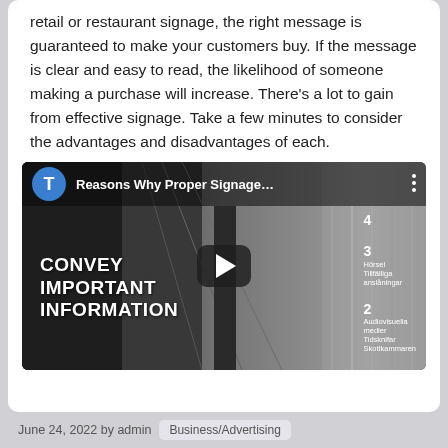retail or restaurant signage, the right message is guaranteed to make your customers buy. If the message is clear and easy to read, the likelihood of someone making a purchase will increase. There's a lot to gain from effective signage. Take a few minutes to consider the advantages and disadvantages of each.
[Figure (screenshot): YouTube video thumbnail titled 'Reasons Why Proper Signage...' with a black and white corridor background showing a numbered list of signage types, and bold white text 'CONVEY IMPORTANT INFORMATION' on the lower left. A play button is centered on the thumbnail.]
June 24, 2022 by admin   Business/Advertising